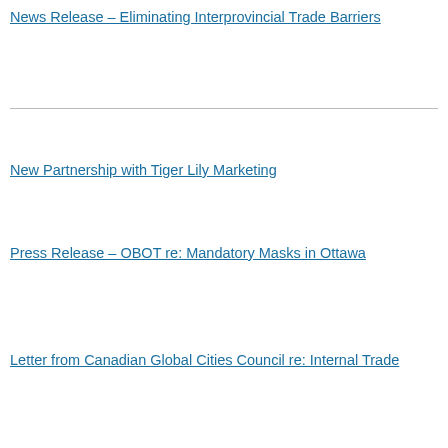News Release - Eliminating Interprovincial Trade Barriers
New Partnership with Tiger Lily Marketing
Press Release - OBOT re: Mandatory Masks in Ottawa
Letter from Canadian Global Cities Council re: Internal Trade